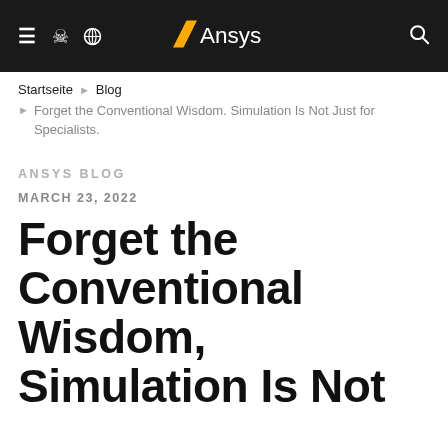Ansys logo navigation bar with hamburger menu, globe icon, Ansys logo, and search icon
Startseite › Blog
› Forget the Conventional Wisdom. Simulation Is Not Just for Specialists.
ANSYS BLOG
MARCH 23, 2022
Forget the Conventional Wisdom, Simulation Is Not